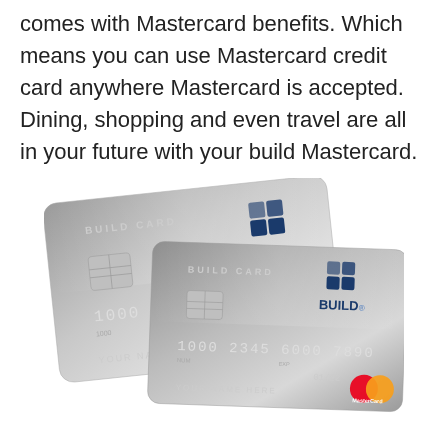comes with Mastercard benefits. Which means you can use Mastercard credit card anywhere Mastercard is accepted. Dining, shopping and even travel are all in your future with your build Mastercard.
[Figure (photo): Two overlapping Build Card Mastercard credit cards, silver/metallic finish, showing card numbers 1000 2345 6000 7890, expiry 01/22, YOUR NAME HERE, with the BUILD logo (blue squares) and MasterCard logo.]